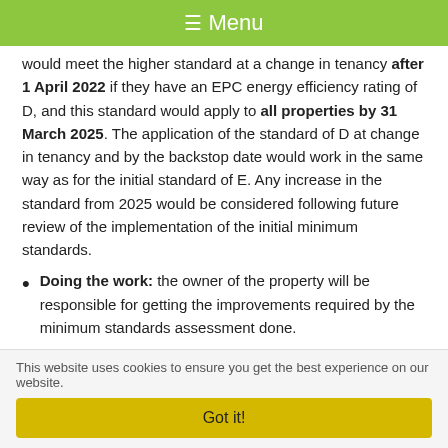≡ Menu
would meet the higher standard at a change in tenancy after 1 April 2022 if they have an EPC energy efficiency rating of D, and this standard would apply to all properties by 31 March 2025. The application of the standard of D at change in tenancy and by the backstop date would work in the same way as for the initial standard of E. Any increase in the standard from 2025 would be considered following future review of the implementation of the initial minimum standards.
Doing the work: the owner of the property will be responsible for getting the improvements required by the minimum standards assessment done.
This website uses cookies to ensure you get the best experience on our website.
Got it!